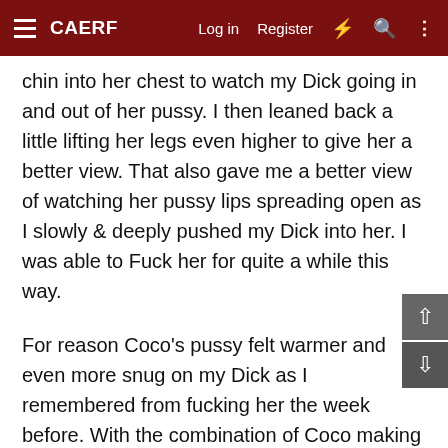CAERF   Log in   Register
chin into her chest to watch my Dick going in and out of her pussy. I then leaned back a little lifting her legs even higher to give her a better view. That also gave me a better view of watching her pussy lips spreading open as I slowly & deeply pushed my Dick into her. I was able to Fuck her for quite a while this way.
For reason Coco's pussy felt warmer and even more snug on my Dick as I remembered from fucking her the week before. With the combination of Coco making a lot of OHH OHH noises while watching her take my Dick into her pussy and her warm we pussy hugging my Dick I was almost